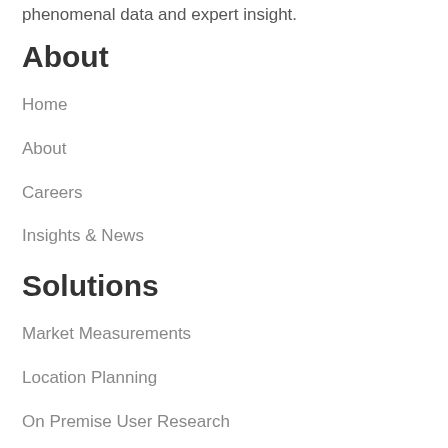phenomenal data and expert insight.
About
Home
About
Careers
Insights & News
Solutions
Market Measurements
Location Planning
On Premise User Research